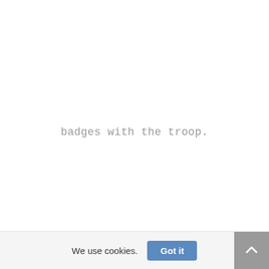badges with the troop.
We use cookies.
Got it